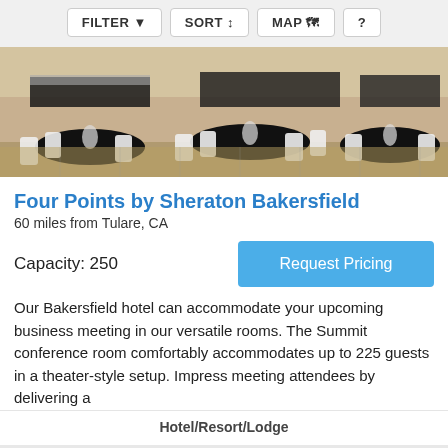FILTER  SORT  MAP  ?
[Figure (photo): Ballroom/event hall set up for a banquet with round tables covered in black tablecloths, white chairs, and decorative centerpieces]
Four Points by Sheraton Bakersfield
60 miles from Tulare, CA
Capacity: 250
Request Pricing
Our Bakersfield hotel can accommodate your upcoming business meeting in our versatile rooms. The Summit conference room comfortably accommodates up to 225 guests in a theater-style setup. Impress meeting attendees by delivering a
Hotel/Resort/Lodge
⚡ Fast Response